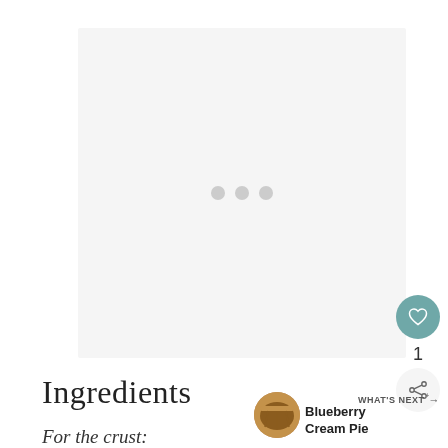[Figure (photo): Large image placeholder with light grey background and three loading dots in the center, indicating an image that has not yet loaded.]
1
Ingredients
WHAT'S NEXT →
Blueberry Cream Pie
For the crust: